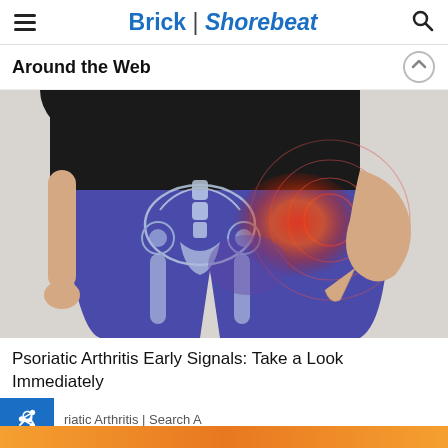Brick | Shorebeat
Around the Web
[Figure (photo): Medical illustration showing person in blue leggings with X-ray overlay of pelvis and hip joint, with red highlighted pain area on right hip, and circular ripple effect indicating pain/inflammation.]
Psoriatic Arthritis Early Signals: Take a Look Immediately
riatic Arthritis | Search A